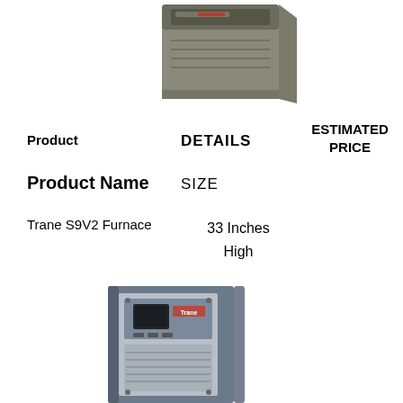[Figure (photo): Trane furnace unit viewed from top-right angle, grey metal casing with red label on front panel]
| Product | DETAILS | ESTIMATED PRICE |
| --- | --- | --- |
| Product Name | SIZE |  |
| Trane S9V2 Furnace | 33 Inches High |  |
[Figure (photo): Trane S9V2 furnace unit, grey/blue casing, front panel view showing control board and Trane logo]